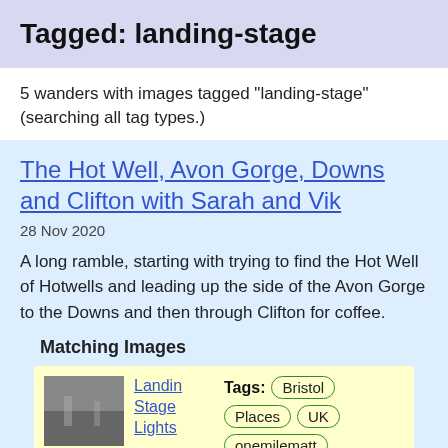Tagged: landing-stage
5 wanders with images tagged "landing-stage" (searching all tag types.)
The Hot Well, Avon Gorge, Downs and Clifton with Sarah and Vik
28 Nov 2020
A long ramble, starting with trying to find the Hot Well of Hotwells and leading up the side of the Avon Gorge to the Downs and then through Clifton for coffee.
Matching Images
Landing Stage Lights
Tags: Bristol Places UK onemilematt united kingdom